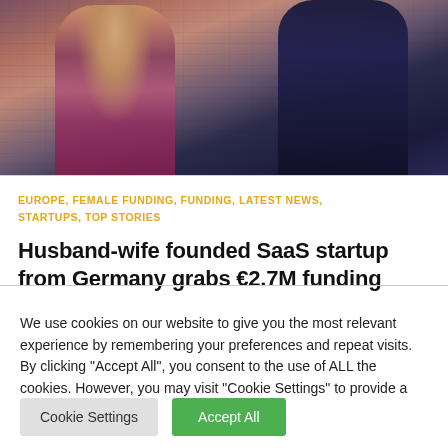[Figure (photo): Two people (a woman in a floral dress and a man in a dark navy top) standing in front of a brick wall — founders of a SaaS startup from Germany]
EUROPE, FEMALE FUNDING, FUNDING, LATEST NEWS, STARTUPS, TOP STORIES
Husband-wife founded SaaS startup from Germany grabs €2.7M funding
We use cookies on our website to give you the most relevant experience by remembering your preferences and repeat visits. By clicking "Accept All", you consent to the use of ALL the cookies. However, you may visit "Cookie Settings" to provide a controlled consent.